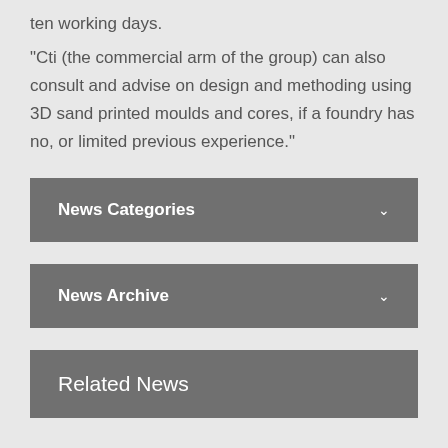ten working days.
“Cti (the commercial arm of the group) can also consult and advise on design and methoding using 3D sand printed moulds and cores, if a foundry has no, or limited previous experience.”
News Categories
News Archive
Related News